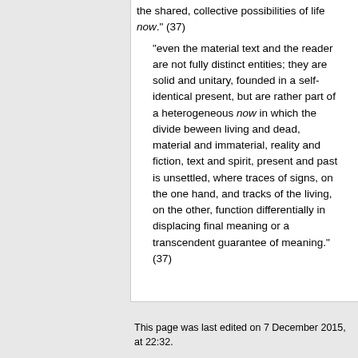the shared, collective possibilities of life now." (37)
"even the material text and the reader are not fully distinct entities; they are solid and unitary, founded in a self-identical present, but are rather part of a heterogeneous now in which the divide beween living and dead, material and immaterial, reality and fiction, text and spirit, present and past is unsettled, where traces of signs, on the one hand, and tracks of the living, on the other, function differentially in displacing final meaning or a transcendent guarantee of meaning." (37)
This page was last edited on 7 December 2015, at 22:32.